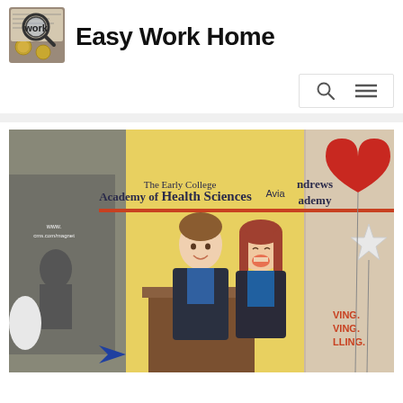[Figure (logo): Easy Work Home website logo - circular magnifying glass icon over newspaper/coins]
Easy Work Home
[Figure (other): Navigation bar with search icon and hamburger menu icon]
[Figure (photo): Two smiling students standing at a podium in front of banners for The Early College Academy of Health Sciences and Andrews Aviation Academy, with balloons in the background]